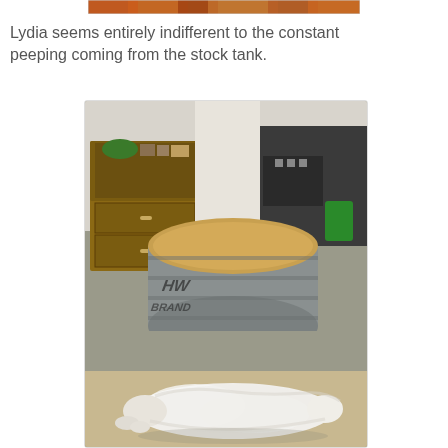[Figure (photo): Partial top strip of a photo visible at top of page showing warm orange/brown tones]
Lydia seems entirely indifferent to the constant peeping coming from the stock tank.
[Figure (photo): Indoor photo showing a large round galvanized metal stock tank with a wooden lid sitting on carpet in a living space. Behind it is a wooden dresser/hutch with items on top including a green bowl. A white fluffy dog (Lydia) is lying stretched out flat on the floor in the foreground, appearing completely relaxed and indifferent. Various household items visible in background including kitchen area.]